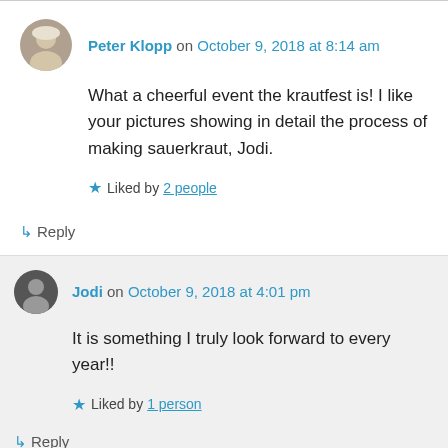Peter Klopp on October 9, 2018 at 8:14 am
What a cheerful event the krautfest is! I like your pictures showing in detail the process of making sauerkraut, Jodi.
Liked by 2 people
Reply
Jodi on October 9, 2018 at 4:01 pm
It is something I truly look forward to every year!!
Liked by 1 person
Reply